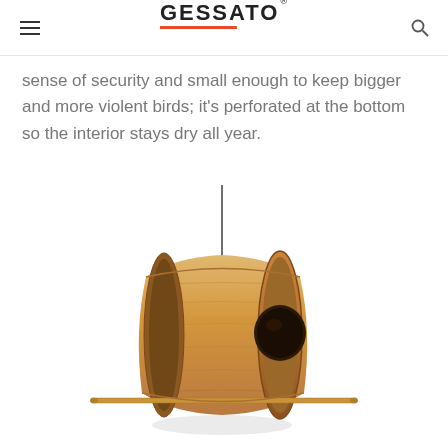GESSATO
sense of security and small enough to keep bigger and more violent birds; it's perforated at the bottom so the interior stays dry all year.
[Figure (photo): Wooden cylindrical bird house hanging from a thin wire, with a round entrance hole on the front face and a perch rod through the bottom, photographed against a white background.]